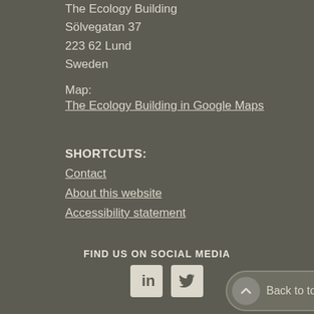The Ecology Building
Sölvegatan 37
223 62 Lund
Sweden
Map:
The Ecology Building in Google Maps
SHORTCUTS:
Contact
About this website
Accessibility statement
FIND US ON SOCIAL MEDIA
[Figure (infographic): LinkedIn and Twitter social media icons, and a Back to top button with upward chevron arrow]